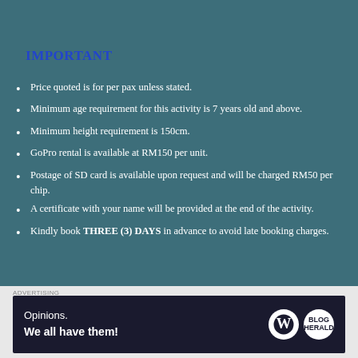IMPORTANT
Price quoted is for per pax unless stated.
Minimum age requirement for this activity is 7 years old and above.
Minimum height requirement is 150cm.
GoPro rental is available at RM150 per unit.
Postage of SD card is available upon request and will be charged RM50 per chip.
A certificate with your name will be provided at the end of the activity.
Kindly book THREE (3) DAYS in advance to avoid late booking charges.
[Figure (illustration): Advertisement banner with WordPress and another logo, text: Opinions. We all have them!]